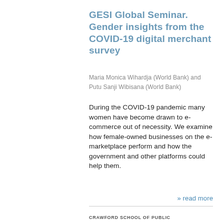GESI Global Seminar. Gender insights from the COVID-19 digital merchant survey
Maria Monica Wihardja (World Bank) and Putu Sanji Wibisana (World Bank)
During the COVID-19 pandemic many women have become drawn to e-commerce out of necessity. We examine how female-owned businesses on the e-marketplace perform and how the government and other platforms could help them.
» read more
CRAWFORD SCHOOL OF PUBLIC